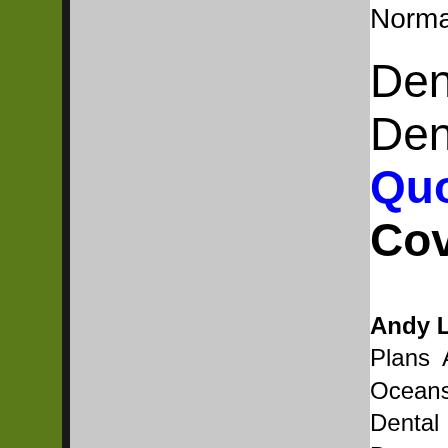Normal Heights, North Park, Ocea…
Dental Plans for I… Dental Plans for… Quote on Quality… Coverage.
Andy Lopez Network 10717 Cam… Plans Agent Mira Mesa San D… Oceanside, San Clemente, Santa A… Dental Care Agent Santa Clari… Bernardino, Big Bear Lake, Yuc… Victorville, Apple Valley, Hesperia… Luis Obispo, Atascadero, San M… Delano, Lemoore, Coalinga, Fresn…